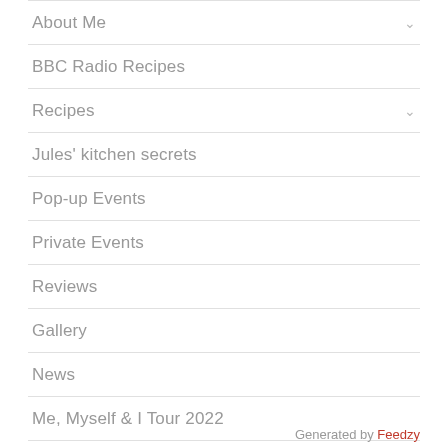About Me
BBC Radio Recipes
Recipes
Jules' kitchen secrets
Pop-up Events
Private Events
Reviews
Gallery
News
Me, Myself & I Tour 2022
Generated by Feedzy